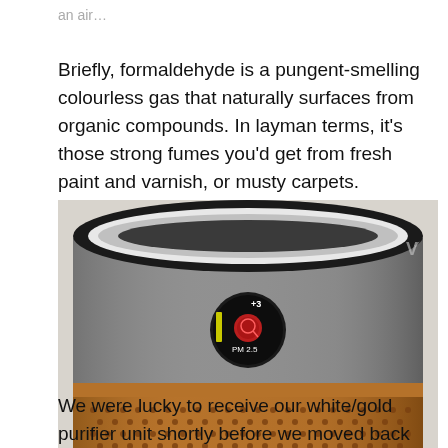Briefly, formaldehyde is a pungent-smelling colourless gas that naturally surfaces from organic compounds. In layman terms, it's those strong fumes you'd get from fresh paint and varnish, or musty carpets.
[Figure (photo): Close-up photo of a Dyson air purifier unit showing the cylindrical body with a copper/gold perforated lower section and a silver/charcoal upper body. A small circular LCD display shows PM 2.5 reading with a red indicator and the number +3.]
We were lucky to receive our white/gold purifier unit shortly before we moved back into the office.